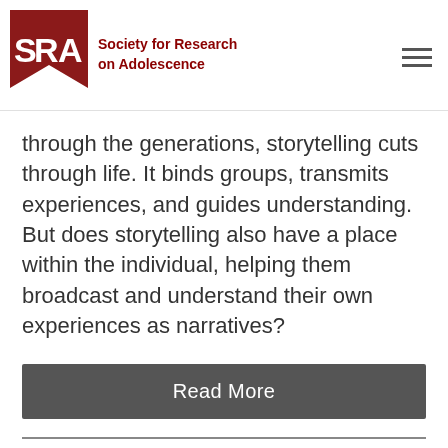Society for Research on Adolescence
through the generations, storytelling cuts through life. It binds groups, transmits experiences, and guides understanding. But does storytelling also have a place within the individual, helping them broadcast and understand their own experiences as narratives?
Read More
Dis...ting: Sto...ion Sto...